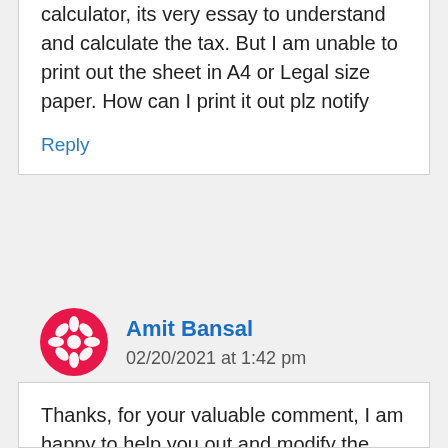I have download the excel based tax calculator, its very essay to understand and calculate the tax. But I am unable to print out the sheet in A4 or Legal size paper. How can I print it out plz notify
Reply
Amit Bansal
02/20/2021 at 1:42 pm
Thanks, for your valuable comment, I am happy to help you out and modify the sheet in the future you can take printouts easily.